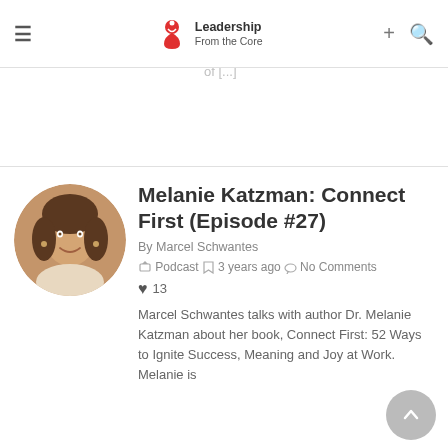Leadership From the Core
building teams, and leaders. He has a unique understanding of [...]
Melanie Katzman: Connect First (Episode #27)
By Marcel Schwantes
Podcast  3 years ago  No Comments  13
Marcel Schwantes talks with author Dr. Melanie Katzman about her book, Connect First: 52 Ways to Ignite Success, Meaning and Joy at Work. Melanie is